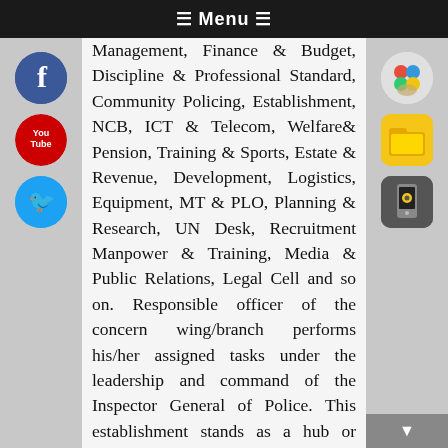☰ Menu ☰
Management, Finance & Budget, Discipline & Professional Standard, Community Policing, Establishment, NCB, ICT & Telecom, Welfare& Pension, Training & Sports, Estate & Revenue, Development, Logistics, Equipment, MT & PLO, Planning & Research, UN Desk, Recruitment Manpower & Training, Media & Public Relations, Legal Cell and so on. Responsible officer of the concern wing/branch performs his/her assigned tasks under the leadership and command of the Inspector General of Police. This establishment stands as a hub or focal point for the high level police personnel who formulate policies, directives and operational mechanism with a view to control crime, maintain order and ensure peace all over the country. Therefore, this Police Headquarters bears a prodigious value to all the police